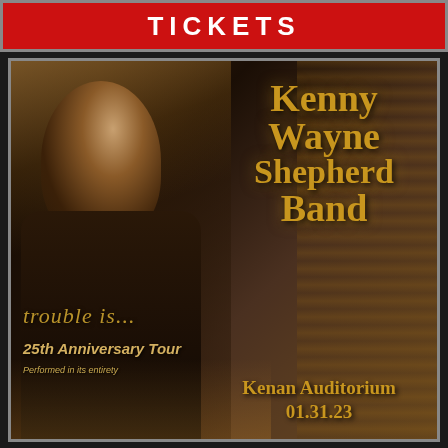TICKETS
[Figure (illustration): Concert promotion poster for Kenny Wayne Shepherd Band. Left side shows a guitarist with long blond hair looking down, playing guitar, in dark sepia/golden tones. Right side shows the artist name 'Kenny Wayne Shepherd Band' in large golden stylized text. Bottom shows album title 'trouble is...' in golden italic text, '25th Anniversary Tour' in italic text, 'Performed in its entirety' in small text, and venue/date 'Kenan Auditorium 01.31.23' in golden bold text.]
Kenny Wayne Shepherd Band
trouble is...
25th Anniversary Tour
Performed in its entirety
Kenan Auditorium 01.31.23